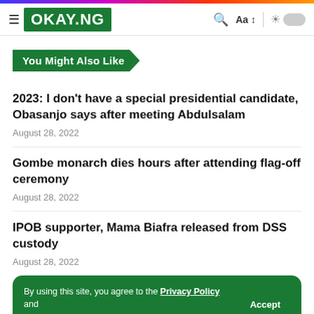OKAY.NG
You Might Also Like
2023: I don't have a special presidential candidate, Obasanjo says after meeting Abdulsalam
August 28, 2022
Gombe monarch dies hours after attending flag-off ceremony
August 28, 2022
IPOB supporter, Mama Biafra released from DSS custody
August 28, 2022
By using this site, you agree to the Privacy Policy and Terms & Conditions.